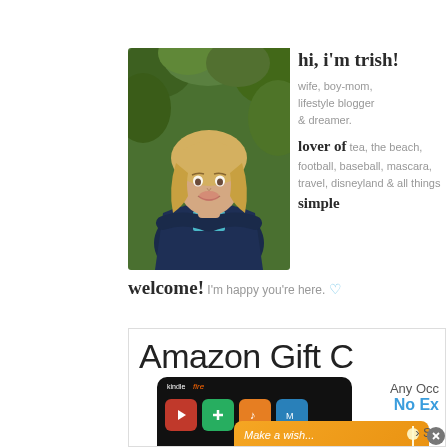[Figure (photo): Portrait photo of a blonde woman (Trish) with arms crossed, wearing a dark jacket, standing in front of green foliage]
hi, i'm trish! wife, boy-mom, lifestyle blogger & dreamer. lover of tea, the beach, football, baseball, mascara, travel, disneyland & all things simple
welcome! I'm happy you're here. ♡
[Figure (screenshot): Amazon Gift Card advertisement banner showing Kindle Fire device card, gold gift card with 'Make a wish...' text, blue card with 'Congratulations' text, and text 'Any Occasion, No Expiry' with a shop link]